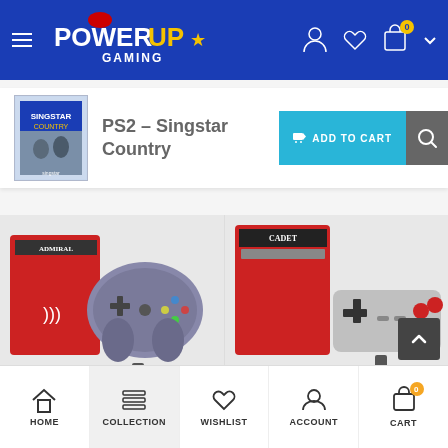PowerUp Gaming
[Figure (screenshot): PS2 Singstar Country game cover thumbnail]
PS2 – Singstar Country
ADD TO CART
[Figure (photo): Admiral Premium BT Controller product photo with box]
"Admiral" Premium BT Co...
$55.00
[Figure (photo): Cadet Premium BT Controller product photo with box]
"Cadet" Premium BT Con...
$50.00
HOME  COLLECTION  WISHLIST  ACCOUNT  CART